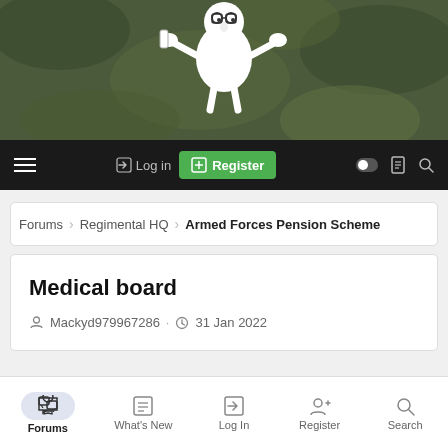[Figure (illustration): Website header banner with camouflage green background and a cartoon soldier illustration in the center]
[Figure (screenshot): Navigation bar with hamburger menu, Log in button, Register button (green), and icons for dark mode, notifications, and search]
Forums > Regimental HQ > Armed Forces Pension Scheme
Medical board
Mackyd979967286 · 31 Jan 2022
[Figure (screenshot): Bottom navigation bar with Forums (active), What's New, Log In, Register, Search tabs]